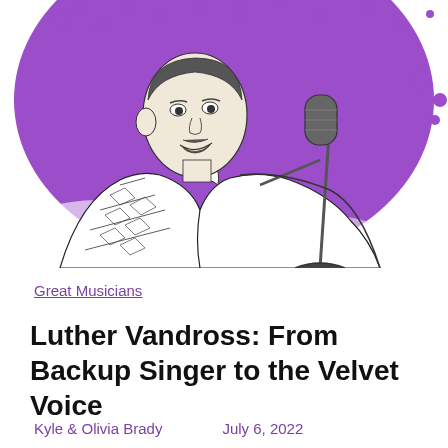[Figure (illustration): Black and white line drawing illustration of Luther Vandross singing into a microphone stand, wearing a patterned jacket, set against a purple splatter/watercolor background.]
Great Musicians
Luther Vandross: From Backup Singer to the Velvet Voice
Kyle & Olivia Brady    July 6, 2022